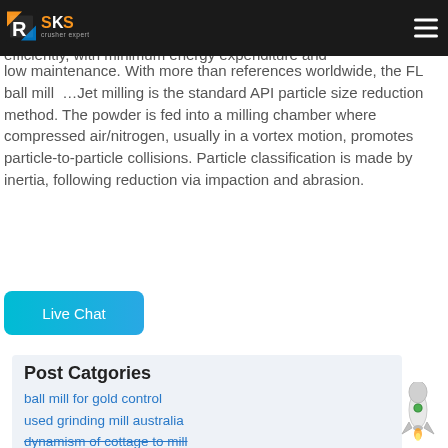SKS crusher expert — navigation bar
is a major expense and could even cost you product quality. The SKS mills enable you to achieve the desired fineness quickly and efficiently, with minimum energy expenditure and low maintenance. With more than references worldwide, the FL ball mill …Jet milling is the standard API particle size reduction method. The powder is fed into a milling chamber where compressed air/nitrogen, usually in a vortex motion, promotes particle-to-particle collisions. Particle classification is made by inertia, following reduction via impaction and abrasion.
Live Chat
Post Catgories
ball mill for gold control
used grinding mill australia
dynamism of cottage to mill